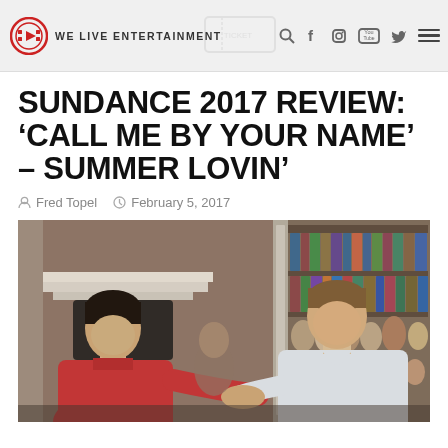We Live Entertainment
SUNDANCE 2017 REVIEW: ‘CALL ME BY YOUR NAME’ – SUMMER LOVIN’
Fred Topel   February 5, 2017
[Figure (photo): Two men shaking hands indoors; a young man in a red polo shirt on the left, an older man in a white shirt on the right, with bookshelves and a fireplace mantel visible in the background.]